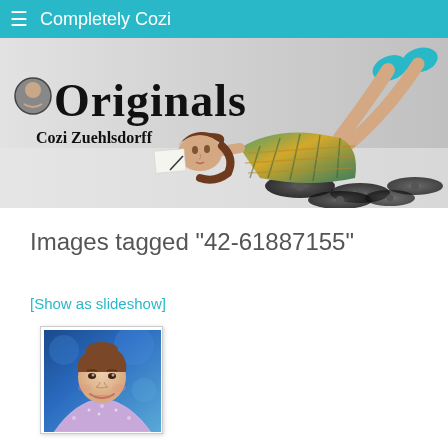Completely Cozi
[Figure (photo): Banner image for 'Originals by Cozi Zuehlsdorff' showing a young woman lying on the floor in a plaid dress with teal socks, surrounded by vinyl records, with 'Originals' text in large serif font and 'Cozi Zuehlsdorff' below]
Images tagged "42-61887155"
[Show as slideshow]
[Figure (photo): Small thumbnail photo of a young girl with an updo hairstyle, wearing a sequined or sparkly outfit, smiling, against a blue background]